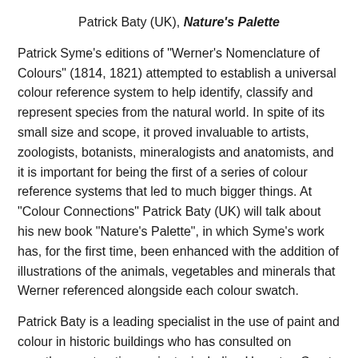Patrick Baty (UK), Nature's Palette
Patrick Syme's editions of "Werner's Nomenclature of Colours" (1814, 1821) attempted to establish a universal colour reference system to help identify, classify and represent species from the natural world. In spite of its small size and scope, it proved invaluable to artists, zoologists, botanists, mineralogists and anatomists, and it is important for being the first of a series of colour reference systems that led to much bigger things. At "Colour Connections" Patrick Baty (UK) will talk about his new book "Nature's Palette", in which Syme's work has, for the first time, been enhanced with the addition of illustrations of the animals, vegetables and minerals that Werner referenced alongside each colour swatch.
Patrick Baty is a leading specialist in the use of paint and colour in historic buildings who has consulted on countless restoration projects, including Hampton Court Palace, Stowe, Tower Bridge and the Royal Festival Hall and numerous other sites in the UK, and the Metropolitan Museum of Art, Historic Charleston, Monticello…